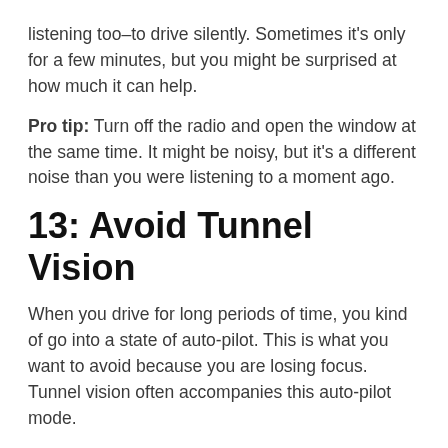listening too–to drive silently. Sometimes it's only for a few minutes, but you might be surprised at how much it can help.
Pro tip: Turn off the radio and open the window at the same time. It might be noisy, but it's a different noise than you were listening to a moment ago.
13: Avoid Tunnel Vision
When you drive for long periods of time, you kind of go into a state of auto-pilot. This is what you want to avoid because you are losing focus. Tunnel vision often accompanies this auto-pilot mode.
You can avoid it with one simple tip: Keep your eyes moving.